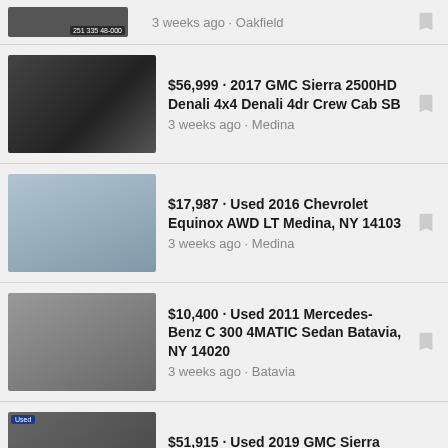3 weeks ago · Oakfield
$56,999 · 2017 GMC Sierra 2500HD Denali 4x4 Denali 4dr Crew Cab SB
3 weeks ago · Medina
$17,987 · Used 2016 Chevrolet Equinox AWD LT Medina, NY 14103
3 weeks ago · Medina
$10,400 · Used 2011 Mercedes-Benz C 300 4MATIC Sedan Batavia, NY 14020
3 weeks ago · Batavia
$51,915 · Used 2019 GMC Sierra 1500 Denali Oakfield, NY 14125
3 weeks ago · Oakfield
$27,988 · 2017 Ford Edge Titanium AWD Titanium 4dr Crossover
3 weeks ago · Batavia
$49,415 · Used 2017 Chevrolet Silverado 3500 LTZ